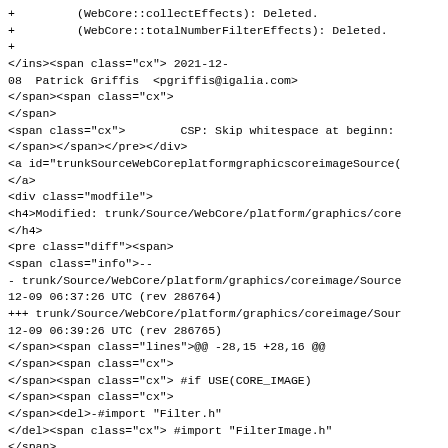+ (WebCore::collectEffects): Deleted.
+ (WebCore::totalNumberFilterEffects): Deleted.
+
</ins><span class="cx"> 2021-12-
08  Patrick Griffis  <pgriffis@igalia.com>
</span><span class="cx">
</span>
<span class="cx">        CSP: Skip whitespace at beginn:
</span></span></pre></div>
<a id="trunkSourceWebCoreplatformgraphicscoreimageSource(
</a>
<div class="modfile">
<h4>Modified: trunk/Source/WebCore/platform/graphics/core
</h4>
<pre class="diff"><span>
<span class="info">--
- trunk/Source/WebCore/platform/graphics/coreimage/Source
12-09 06:37:26 UTC (rev 286764)
+++ trunk/Source/WebCore/platform/graphics/coreimage/Sour
12-09 06:39:26 UTC (rev 286765)
</span><span class="lines">@@ -28,15 +28,16 @@
</span><span class="cx">
</span><span class="cx"> #if USE(CORE_IMAGE)
</span><span class="cx">
</span><del>-#import "Filter.h"
</del><span class="cx"> #import "FilterImage.h"
</span>
<span class="cx"> #import "PlatformImageBuffer.h"
</span><span class="cx">
</span><span class="cx"> namespace WebCore {